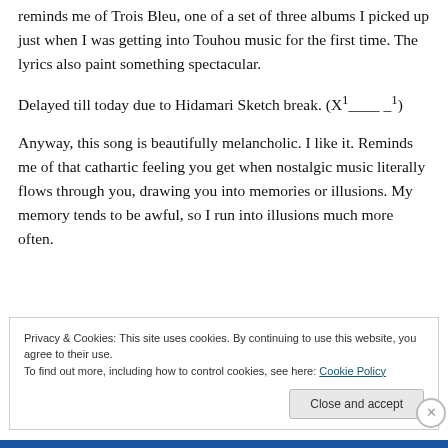reminds me of Trois Bleu, one of a set of three albums I picked up just when I was getting into Touhou music for the first time. The lyrics also paint something spectacular.
Delayed till today due to Hidamari Sketch break. (X¹____ _¹)
Anyway, this song is beautifully melancholic. I like it. Reminds me of that cathartic feeling you get when nostalgic music literally flows through you, drawing you into memories or illusions. My memory tends to be awful, so I run into illusions much more often.
Privacy & Cookies: This site uses cookies. By continuing to use this website, you agree to their use. To find out more, including how to control cookies, see here: Cookie Policy
Close and accept